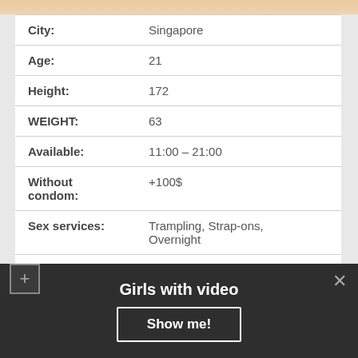[Figure (photo): Partial skin-tone image at top of page]
| City: | Singapore |
| Age: | 21 |
| Height: | 172 |
| WEIGHT: | 63 |
| Available: | 11:00 – 21:00 |
| Without condom: | +100$ |
| Sex services: | Trampling, Strap-ons, Overnight |
| Sizes: | 89-61-90 |
| One HOUR: | 120 |
Girls with video
Show me!